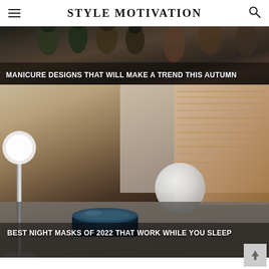STYLE MOTIVATION
[Figure (photo): Close-up of dark-painted fingernails with autumn tones, dark background with multiple hand poses]
MANICURE DESIGNS THAT WILL MAKE A TREND THIS AUTUMN
[Figure (photo): Skincare flat lay with a blue jar of night mask, a lamp, a white smooth stone, and a beige textured towel on a light surface]
BEST NIGHT MASKS OF 2022 THAT WORK WHILE YOU SLEEP